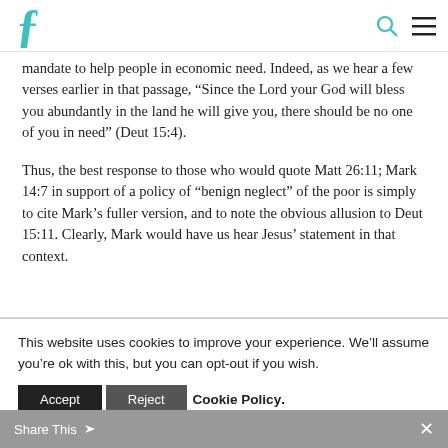F logo, search icon, menu icon
mandate to help people in economic need. Indeed, as we hear a few verses earlier in that passage, “Since the Lord your God will bless you abundantly in the land he will give you, there should be no one of you in need” (Deut 15:4).
Thus, the best response to those who would quote Matt 26:11; Mark 14:7 in support of a policy of “benign neglect” of the poor is simply to cite Mark’s fuller version, and to note the obvious allusion to Deut 15:11. Clearly, Mark would have us hear Jesus’ statement in that context.
This website uses cookies to improve your experience. We’ll assume you’re ok with this, but you can opt-out if you wish.
Accept | Reject | Cookie Policy | Share This ✕